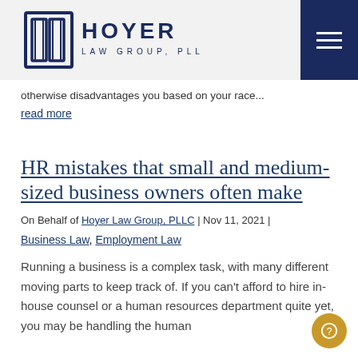Hoyer Law Group, PLLC
otherwise disadvantages you based on your race...
read more
HR mistakes that small and medium-sized business owners often make
On Behalf of Hoyer Law Group, PLLC | Nov 11, 2021 |
Business Law, Employment Law
Running a business is a complex task, with many different moving parts to keep track of. If you can't afford to hire in-house counsel or a human resources department quite yet, you may be handling the human